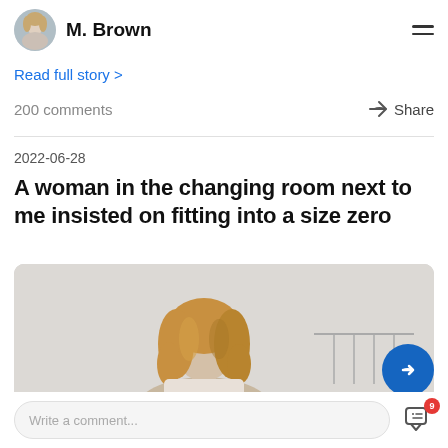M. Brown
Read full story >
200 comments
Share
2022-06-28
A woman in the changing room next to me insisted on fitting into a size zero
[Figure (photo): A woman seen from behind with wavy blonde hair, standing in a light grey background near clothing racks]
Write a comment...